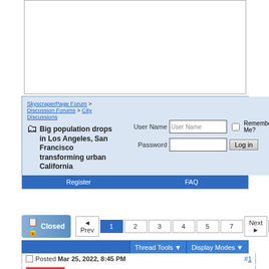[Figure (screenshot): Advertisement banner area, white box with border]
SkyscraperPage Forum > Discussion Forums > City Discussions
Big population drops in Los Angeles, San Francisco transforming urban California
User Name | Password | Remember Me? | Log in
Register | FAQ
Prev 1 2 3 4 5 7 Next | Viewing Page 1 of 7
Closed
Thread Tools | Display Modes
Posted Mar 25, 2022, 8:45 PM #1
Join Date: Jul 2007
Location: South Pasadena, California
Posts: 5,879
sonas_ei